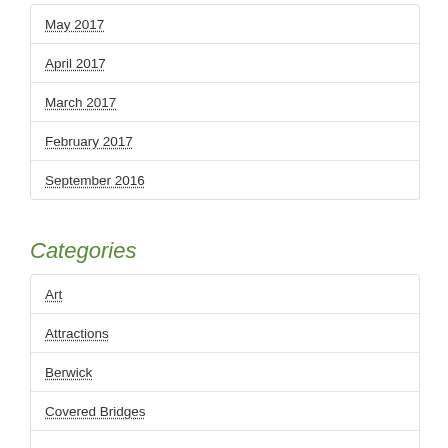May 2017
April 2017
March 2017
February 2017
September 2016
Categories
Art
Attractions
Berwick
Covered Bridges